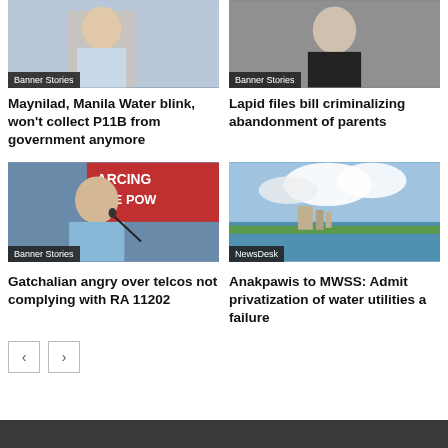[Figure (photo): Partial photo of a person, top-left card with Banner Stories badge]
Banner Stories
[Figure (photo): Partial photo of a person in dark suit, top-right card with Banner Stories badge]
Banner Stories
Maynilad, Manila Water blink, won't collect P11B from government anymore
Lapid files bill criminalizing abandonment of parents
[Figure (photo): Man in light blue shirt speaking at podium with red/blue banner in background, Banner Stories badge]
Banner Stories
[Figure (photo): Reservoir or dam with large white clouds and green landscape, NewsDesk badge]
NewsDesk
Gatchalian angry over telcos not complying with RA 11202
Anakpawis to MWSS: Admit privatization of water utilities a failure